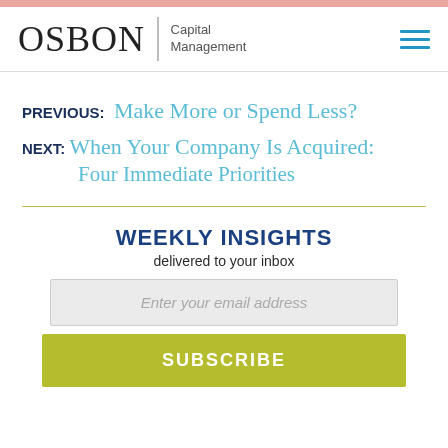OSBON Capital Management
PREVIOUS: Make More or Spend Less?
NEXT: When Your Company Is Acquired: Four Immediate Priorities
WEEKLY INSIGHTS delivered to your inbox
Enter your email address
SUBSCRIBE